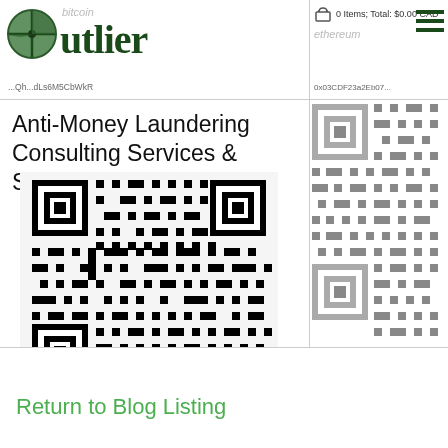Outlier | bitcoin | ethereum | 0 Items; Total: $0.00 CAD
Anti-Money Laundering Consulting Services & Strategies
[Figure (other): QR code for bitcoin address on the left side]
[Figure (other): QR code for ethereum address on the right side (partially visible)]
Return to Blog Listing